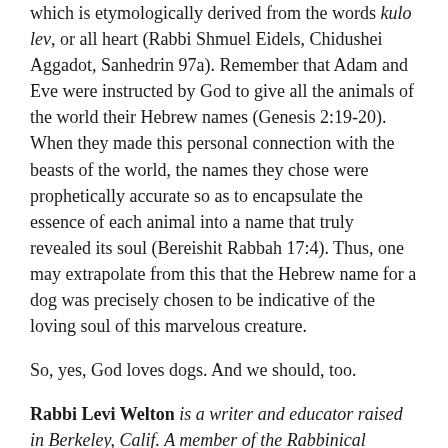which is etymologically derived from the words kulo lev, or all heart (Rabbi Shmuel Eidels, Chidushei Aggadot, Sanhedrin 97a). Remember that Adam and Eve were instructed by God to give all the animals of the world their Hebrew names (Genesis 2:19-20). When they made this personal connection with the beasts of the world, the names they chose were prophetically accurate so as to encapsulate the essence of each animal into a name that truly revealed its soul (Bereishit Rabbah 17:4). Thus, one may extrapolate from this that the Hebrew name for a dog was precisely chosen to be indicative of the loving soul of this marvelous creature.
So, yes, God loves dogs. And we should, too.
Rabbi Levi Welton is a writer and educator raised in Berkeley, Calif. A member of the Rabbinical Council of America, he graduated from the Machon Ariel